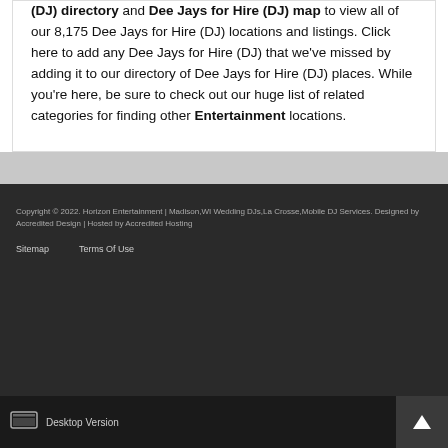(DJ) directory and Dee Jays for Hire (DJ) map to view all of our 8,175 Dee Jays for Hire (DJ) locations and listings. Click here to add any Dee Jays for Hire (DJ) that we've missed by adding it to our directory of Dee Jays for Hire (DJ) places. While you're here, be sure to check out our huge list of related categories for finding other Entertainment locations.
Copyright © 2022. Horizon Entertainment | Madison,WI Wedding DJs,La Crosse,Mobile DJ Services. Designed by Accredited Design | Hosted by Accredited Hosting
Sitemap   Terms Of Use
Desktop Version